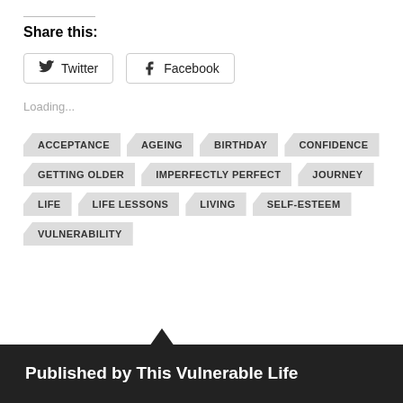Share this:
[Figure (other): Twitter and Facebook share buttons]
Loading...
ACCEPTANCE
AGEING
BIRTHDAY
CONFIDENCE
GETTING OLDER
IMPERFECTLY PERFECT
JOURNEY
LIFE
LIFE LESSONS
LIVING
SELF-ESTEEM
VULNERABILITY
Published by This Vulnerable Life